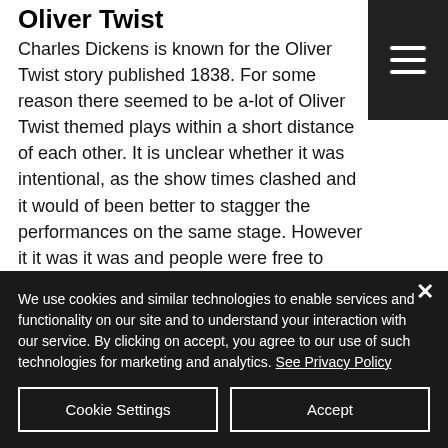Oliver Twist
Charles Dickens is known for the Oliver Twist story published 1838. For some reason there seemed to be a-lot of Oliver Twist themed plays within a short distance of each other. It is unclear whether it was intentional, as the show times clashed and it would of been better to stagger the performances on the same stage. However it it was it was and people were free to choose
We use cookies and similar technologies to enable services and functionality on our site and to understand your interaction with our service. By clicking on accept, you agree to our use of such technologies for marketing and analytics. See Privacy Policy
Cookie Settings
Accept